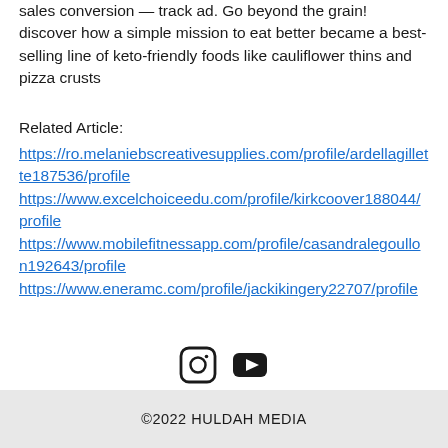sales conversion — track ad. Go beyond the grain! discover how a simple mission to eat better became a best-selling line of keto-friendly foods like cauliflower thins and pizza crusts
Related Article:
https://ro.melaniebscreativesupplies.com/profile/ardellagillette187536/profile https://www.excelchoiceedu.com/profile/kirkcoover188044/profile https://www.mobilefitnessapp.com/profile/casandralegoullon192643/profile https://www.eneramc.com/profile/jackikingery22707/profile
[Figure (illustration): Instagram icon and YouTube icon in a row]
©2022 HULDAH MEDIA